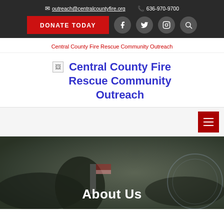outreach@centralcountyfire.org   636-970-9700
DONATE TODAY
Central County Fire Rescue Community Outreach
Central County Fire Rescue Community Outreach
[Figure (screenshot): Broken image placeholder icon for Central County Fire Rescue Community Outreach logo]
About Us